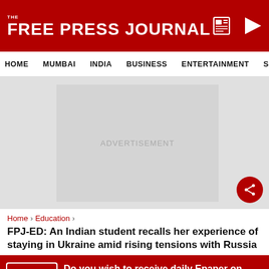THE FREE PRESS JOURNAL
HOME  MUMBAI  INDIA  BUSINESS  ENTERTAINMENT  SPO
[Figure (other): Advertisement placeholder area with grey background]
Home › Education ›
FPJ-ED: An Indian student recalls her experience of staying in Ukraine amid rising tensions with Russia
Do you wish to receive daily Epaper on your WhatsApp for FREE?